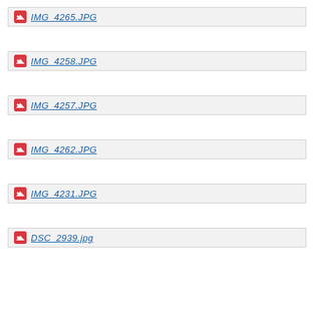IMG_4265.JPG
IMG_4258.JPG
IMG_4257.JPG
IMG_4262.JPG
IMG_4231.JPG
DSC_2939.jpg